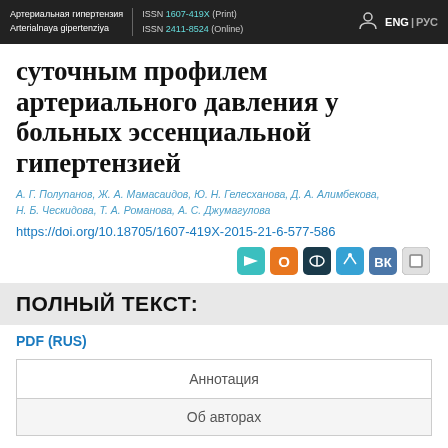Артериальная гипертензия / Arterialnaya gipertenziya | ISSN 1607-419X (Print) | ISSN 2411-8524 (Online) | ENG | РУС
суточным профилем артериального давления у больных эссенциальной гипертензией
А. Г. Полупанов, Ж. А. Мамасаидов, Ю. Н. Гелесханова, Д. А. Алимбекова, Н. Б. Ческидова, Т. А. Романова, А. С. Джумагулова
https://doi.org/10.18705/1607-419X-2015-21-6-577-586
ПОЛНЫЙ ТЕКСТ:
PDF (RUS)
| Аннотация |
| Об авторах |